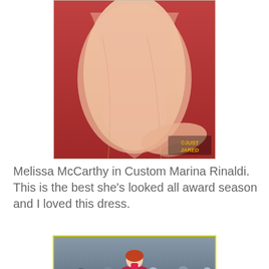[Figure (photo): Photo of Melissa McCarthy on a red carpet in a peach/blush flowing gown, taken from the mid-section down showing the dress train. Watermark reads ©JUST JARED in the lower right corner.]
Melissa McCarthy in Custom Marina Rinaldi.  This is the best she's looked all award season and I loved this dress.
[Figure (photo): Photo of a woman (likely Emma Stone) in a bright red/fuchsia halter gown with a large bow at the neck, standing on the red carpet at the Academy Awards with a crowd of people behind her. Academy Awards signage visible at the bottom.]